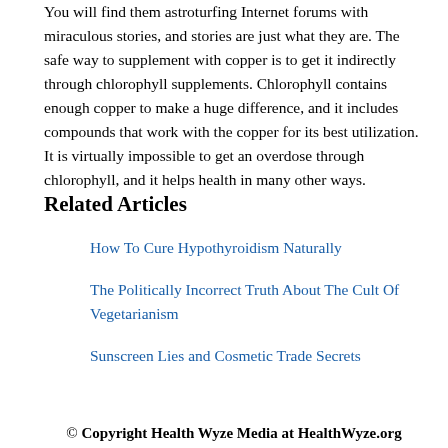You will find them astroturfing Internet forums with miraculous stories, and stories are just what they are. The safe way to supplement with copper is to get it indirectly through chlorophyll supplements. Chlorophyll contains enough copper to make a huge difference, and it includes compounds that work with the copper for its best utilization. It is virtually impossible to get an overdose through chlorophyll, and it helps health in many other ways.
Related Articles
How To Cure Hypothyroidism Naturally
The Politically Incorrect Truth About The Cult Of Vegetarianism
Sunscreen Lies and Cosmetic Trade Secrets
© Copyright Health Wyze Media at HealthWyze.org